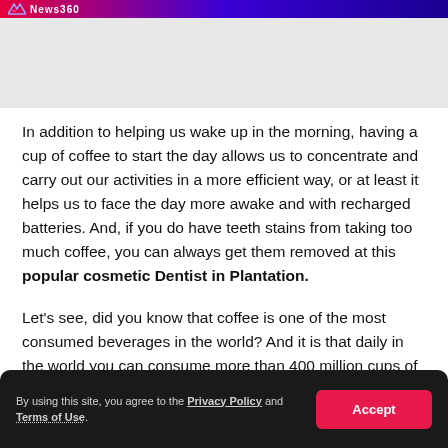News360
In addition to helping us wake up in the morning, having a cup of coffee to start the day allows us to concentrate and carry out our activities in a more efficient way, or at least it helps us to face the day more awake and with recharged batteries. And, if you do have teeth stains from taking too much coffee, you can always get them removed at this popular cosmetic Dentist in Plantation.
Let's see, did you know that coffee is one of the most consumed beverages in the world? And it is that daily in the world you can consume more than 400 million cups of coffee a day. As it turns out, it is a rich source of potassium...
By using this site, you agree to the Privacy Policy and Terms of Use.